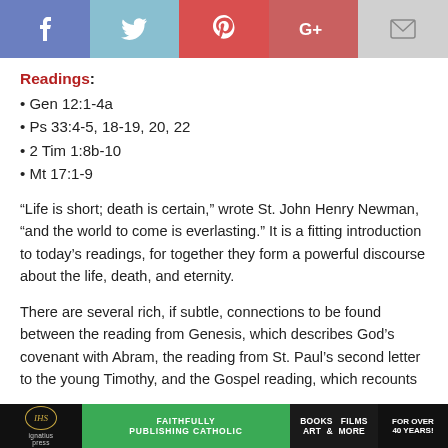[Figure (infographic): Social media share buttons bar: Facebook (blue-purple), Twitter (light blue), Pinterest (red), Google+ (red), Email (gray)]
Readings:
• Gen 12:1-4a
• Ps 33:4-5, 18-19, 20, 22
• 2 Tim 1:8b-10
• Mt 17:1-9
“Life is short; death is certain,” wrote St. John Henry Newman, “and the world to come is everlasting.” It is a fitting introduction to today’s readings, for together they form a powerful discourse about the life, death, and eternity.
There are several rich, if subtle, connections to be found between the reading from Genesis, which describes God’s covenant with Abram, the reading from St. Paul’s second letter to the young Timothy, and the Gospel reading, which recounts
Ignatius Press — FAITHFULLY PUBLISHING CATHOLIC  BOOKS FILMS ART & MORE  FOR OVER 40 YEARS!